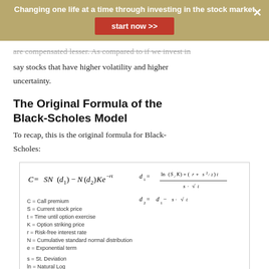Changing one life at a time through investing in the stock market
are compensated lesser. As compared to if we invest in say stocks that have higher volatility and higher uncertainty.
The Original Formula of the Black-Scholes Model
To recap, this is the original formula for Black-Scholes:
[Figure (math-figure): Black-Scholes formula image showing C = SN(d1) - N(d2)Ke^(-rt), with d1 and d2 formulas and variable definitions. Source: Investopedia]
The original Black-Scholes formula takes into account the current stock price, time to expiry, options strike